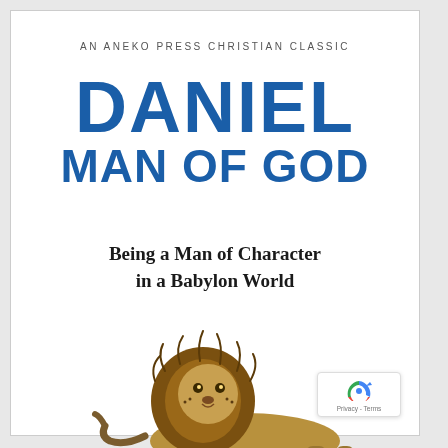AN ANEKO PRESS CHRISTIAN CLASSIC
DANIEL MAN OF GOD
Being a Man of Character in a Babylon World
[Figure (photo): A large male lion standing and facing slightly right, photographed on a white background, showing full body with prominent mane.]